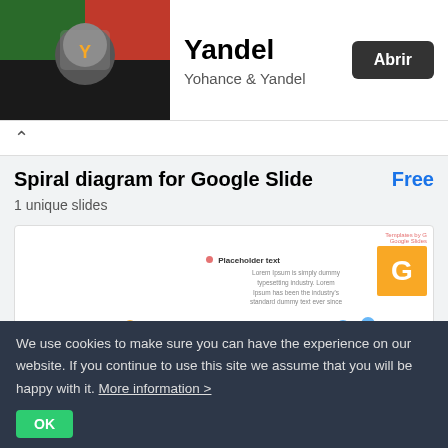[Figure (screenshot): App listing header with artist photo on left, Yandel title and Abrir button]
Yandel
Yohance & Yandel
Spiral diagram for Google Slide
Free
1 unique slides
[Figure (screenshot): Google Slides template preview showing spiral DNA-like diagram with yellow, red and blue circles connected by lines, with placeholder text box]
We use cookies to make sure you can have the experience on our website. If you continue to use this site we assume that you will be happy with it. More information >
OK